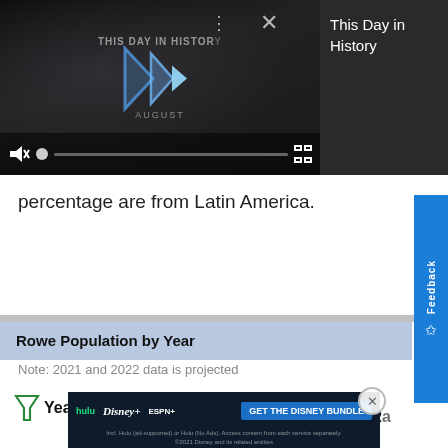[Figure (screenshot): Video player showing 'This Day in History' content with play controls, mute button, progress bar, and fullscreen icon on dark background. Three-dot menu and X close button visible.]
This Day in History
percentage are from Latin America.
Rowe Population by Year
Note: 2021 and 2022 data is projected
| Year | Population | Growth | Annual Growth Rate |
| --- | --- | --- | --- |
[Figure (screenshot): Advertisement banner for Disney Bundle showing Hulu, Disney+, and ESPN+ logos with 'GET THE DISNEY BUNDLE' call to action button and fine print text.]